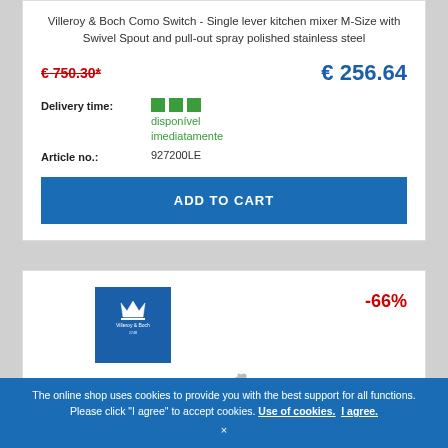Villeroy & Boch Como Switch - Single lever kitchen mixer M-Size with Swivel Spout and pull-out spray polished stainless steel
€ 750.30*
€ 256.64
Delivery time: disponível imediatamente
Article no.: 927200LE
ADD TO CART
[Figure (logo): Villeroy & Boch logo on blue background]
-66%
The online shop uses cookies to provide you with the best support for all functions. Please click "I agree" to accept cookies. Use of cookies. I agree.
×